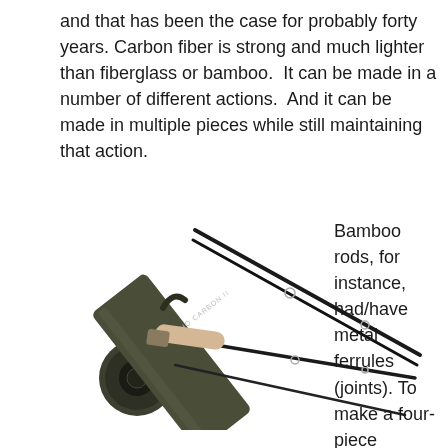and that has been the case for probably forty years. Carbon fiber is strong and much lighter than fiberglass or bamboo.  It can be made in a number of different actions.  And it can be made in multiple pieces while still maintaining that action.
[Figure (photo): Echo Carbon II fly fishing rod with four sections laid out diagonally and an olive/dark green cylindrical rod tube case with a handle strap, showing a cork grip section and guide rings on the rod.]
Bamboo rods, for instance, had/have metal ferrules (joints). To make a four-piece bamboo rod